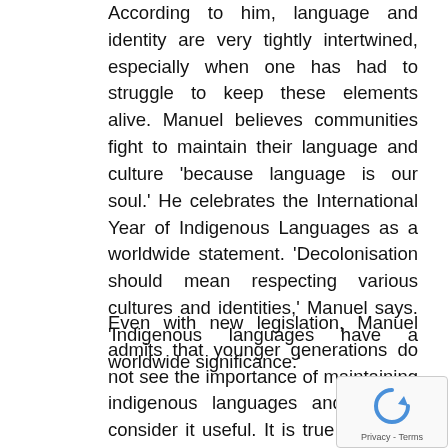According to him, language and identity are very tightly intertwined, especially when one has had to struggle to keep these elements alive. Manuel believes communities fight to maintain their language and culture 'because language is our soul.' He celebrates the International Year of Indigenous Languages as a worldwide statement. 'Decolonisation should mean respecting various cultures and identities,' Manuel says. 'Indigenous languages have a worldwide significance.'
Even with new legislation, Manuel admits that younger generations do not see the importance of maintaining indigenous languages and do not consider it useful. It is true that, with globalisation, language extinction seems an inevitable problem, but one could argue that this is why the International Year of Indigenous languages has a worldwide significance.
[Figure (other): reCAPTCHA widget with circular arrow icon and Privacy - Terms text]